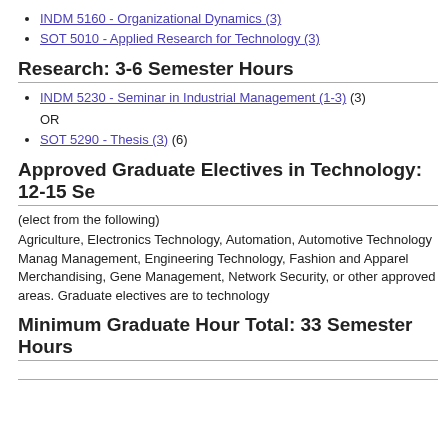INDM 5160 - Organizational Dynamics (3)
SOT 5010 - Applied Research for Technology (3)
Research: 3-6 Semester Hours
INDM 5230 - Seminar in Industrial Management (1-3) (3)
OR
SOT 5290 - Thesis (3) (6)
Approved Graduate Electives in Technology: 12-15 Se
(elect from the following)
Agriculture, Electronics Technology, Automation, Automotive Technology Manag Management, Engineering Technology, Fashion and Apparel Merchandising, Gene Management, Network Security, or other approved areas. Graduate electives are to technology
Minimum Graduate Hour Total: 33 Semester Hours